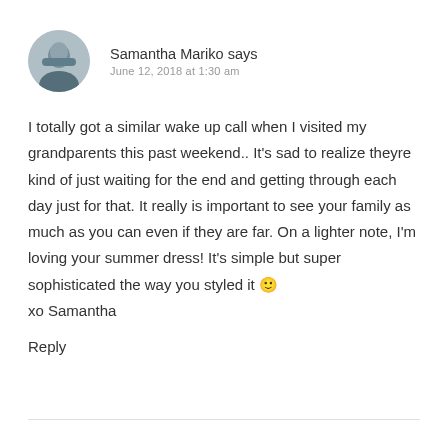Samantha Mariko says
June 12, 2018 at 1:30 am
I totally got a similar wake up call when I visited my grandparents this past weekend.. It's sad to realize theyre kind of just waiting for the end and getting through each day just for that. It really is important to see your family as much as you can even if they are far. On a lighter note, I'm loving your summer dress! It's simple but super sophisticated the way you styled it 🙂
xo Samantha
Reply